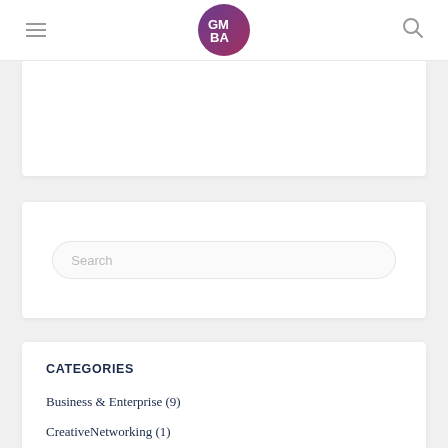GMBA logo, hamburger menu, search icon
[Figure (logo): GMBA circular logo with purple-pink gradient and white letters GM BA]
(white content box, partially visible)
Search
CATEGORIES
Business & Enterprise (9)
CreativeNetworking (1)